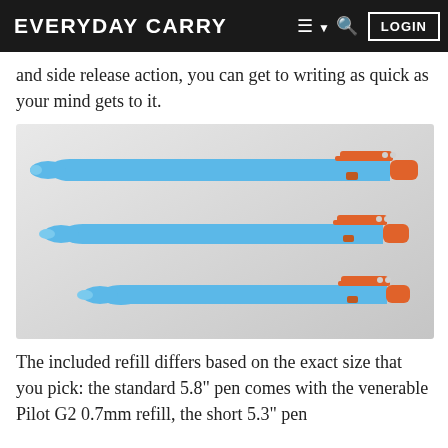EVERYDAY CARRY  ≡ ▾  🔍  LOGIN
and side release action, you can get to writing as quick as your mind gets to it.
[Figure (photo): Three light blue ballpoint pens with orange clips and orange end caps, shown in three sizes (large, medium, small) against a light gray gradient background.]
The included refill differs based on the exact size that you pick: the standard 5.8" pen comes with the venerable Pilot G2 0.7mm refill, the short 5.3" pen